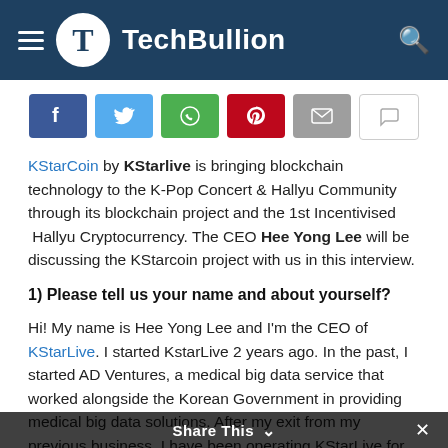TechBullion
[Figure (infographic): Social share buttons: Facebook (blue), Twitter (light blue), WhatsApp (green), Pinterest (red), Email (grey), Comment (white/grey outline)]
KStarCoin by KStarlive is bringing blockchain technology to the K-Pop Concert & Hallyu Community through its blockchain project and the 1st Incentivised Hallyu Cryptocurrency. The CEO Hee Yong Lee will be discussing the KStarcoin project with us in this interview.
1) Please tell us your name and about yourself?
Hi! My name is Hee Yong Lee and I'm the CEO of KStarLive. I started KstarLive 2 years ago. In the past, I started AD Ventures, a medical big data service that worked alongside the Korean Government in providing medical big data solutions. After my exit from my previous business, I have been operating KStarLive for the past two years.
Share This